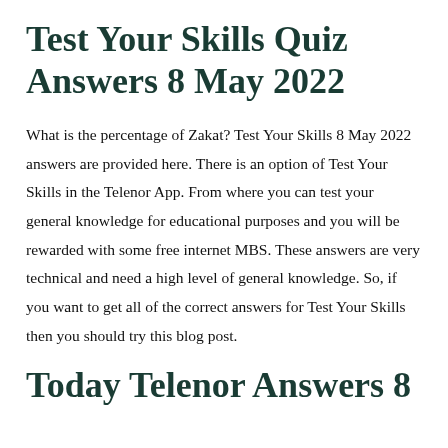Test Your Skills Quiz Answers 8 May 2022
What is the percentage of Zakat? Test Your Skills 8 May 2022 answers are provided here. There is an option of Test Your Skills in the Telenor App. From where you can test your general knowledge for educational purposes and you will be rewarded with some free internet MBS. These answers are very technical and need a high level of general knowledge. So, if you want to get all of the correct answers for Test Your Skills then you should try this blog post.
Today Telenor Answers 8